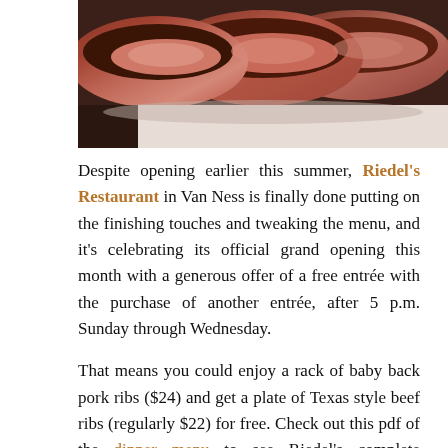[Figure (photo): Close-up photo of grilled or smoked meat (ribs), showing dark charred exterior and pink interior, on a white surface]
Despite opening earlier this summer, Riedel's Restaurant in Van Ness is finally done putting on the finishing touches and tweaking the menu, and it's celebrating its official grand opening this month with a generous offer of a free entrée with the purchase of another entrée, after 5 p.m. Sunday through Wednesday.
That means you could enjoy a rack of baby back pork ribs ($24) and get a plate of Texas style beef ribs (regularly $22) for free. Check out this pdf of the dinner menu to see Riedel's complete offerings, which also include pan roasted rockfish, grilled lamb kabob and seafood gumbo. Memphis, South Carolina, Kansas City and Texas-style homemade sauces are available to dress your 'cue. (Metrocurean notes the absence of her native North Carolina sauce, but that is a deeply personal matter.)